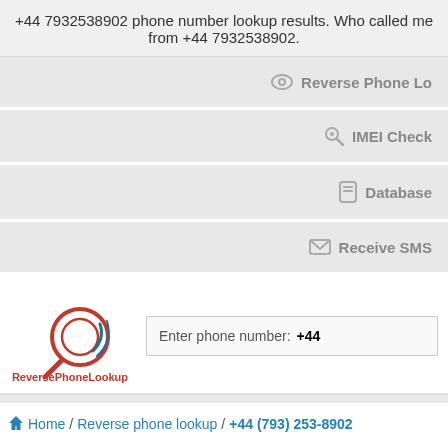+44 7932538902 phone number lookup results. Who called me from +44 7932538902.
Reverse Phone Lo...
IMEI Check
Database...
Receive SMS...
[Figure (logo): ReversePhoneLookup logo with magnifying glass icon in red and blue]
Enter phone number: +44
Home / Reverse phone lookup / +44 (793) 253-8902